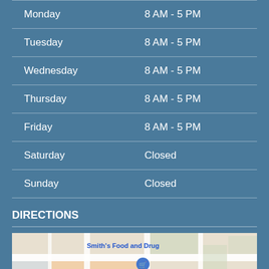| Day | Hours |
| --- | --- |
| Monday | 8 AM - 5 PM |
| Tuesday | 8 AM - 5 PM |
| Wednesday | 8 AM - 5 PM |
| Thursday | 8 AM - 5 PM |
| Friday | 8 AM - 5 PM |
| Saturday | Closed |
| Sunday | Closed |
DIRECTIONS
[Figure (map): Google map showing location near Smith's Food and Drug, McKay-Dee Hospital, and Beus Pond Park]